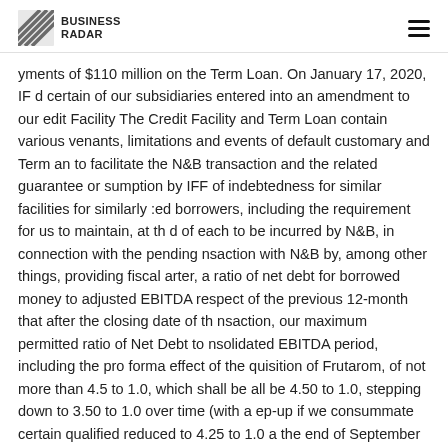BUSINESS RADAR
yments of $110 million on the Term Loan. On January 17, 2020, IF d certain of our subsidiaries entered into an amendment to our edit Facility The Credit Facility and Term Loan contain various venants, limitations and events of default customary and Term an to facilitate the N&B transaction and the related guarantee or sumption by IFF of indebtedness for similar facilities for similarly ed borrowers, including the requirement for us to maintain, at th d of each to be incurred by N&B, in connection with the pending nsaction with N&B by, among other things, providing fiscal arter, a ratio of net debt for borrowed money to adjusted EBITDA respect of the previous 12-month that after the closing date of th nsaction, our maximum permitted ratio of Net Debt to nsolidated EBITDA period, including the pro forma effect of the quisition of Frutarom, of not more than 4.5 to 1.0, which shall be all be 4.50 to 1.0, stepping down to 3.50 to 1.0 over time (with a ep-up if we consummate certain qualified reduced to 4.25 to 1.0 a the end of September 30, 2019, 4.0 to 1.0 as of the end of March 3